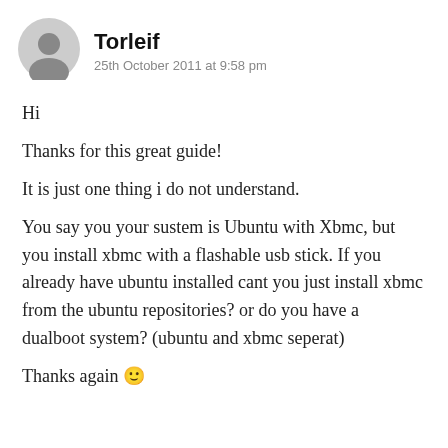Torleif
25th October 2011 at 9:58 pm
Hi
Thanks for this great guide!
It is just one thing i do not understand.
You say you your sustem is Ubuntu with Xbmc, but you install xbmc with a flashable usb stick. If you already have ubuntu installed cant you just install xbmc from the ubuntu repositories? or do you have a dualboot system? (ubuntu and xbmc seperat)
Thanks again 🙂